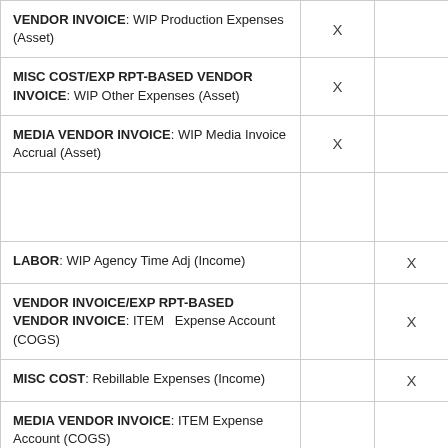| VENDOR INVOICE: WIP Production Expenses (Asset) | X |  |
| MISC COST/EXP RPT-BASED VENDOR INVOICE: WIP Other Expenses (Asset) | X |  |
| MEDIA VENDOR INVOICE: WIP Media Invoice Accrual (Asset) | X |  |
|  |  |  |
| LABOR: WIP Agency Time Adj (Income) |  | X |
| VENDOR INVOICE/EXP RPT-BASED VENDOR INVOICE: ITEM  Expense Account (COGS) |  | X |
| MISC COST: Rebillable Expenses (Income) |  | X |
| MEDIA VENDOR INVOICE: ITEM Expense Account (COGS) |  |  |
|  |  |  |